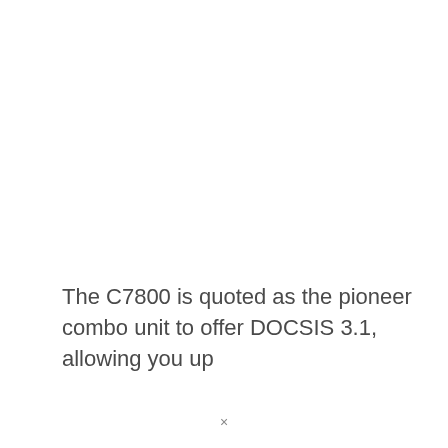The C7800 is quoted as the pioneer combo unit to offer DOCSIS 3.1, allowing you up
×